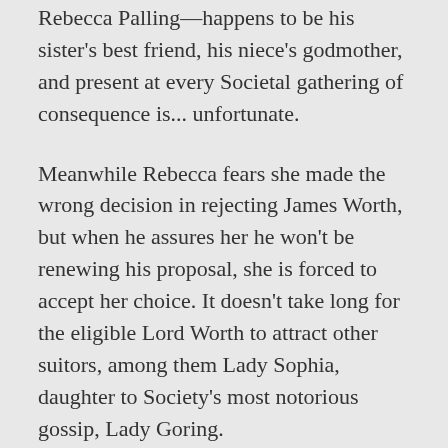Rebecca Palling—happens to be his sister's best friend, his niece's godmother, and present at every Societal gathering of consequence is... unfortunate.
Meanwhile Rebecca fears she made the wrong decision in rejecting James Worth, but when he assures her he won't be renewing his proposal, she is forced to accept her choice. It doesn't take long for the eligible Lord Worth to attract other suitors, among them Lady Sophia, daughter to Society's most notorious gossip, Lady Goring.
Rebecca knows she must step aside and allow James to find happiness, but when she senses all is not as it seems in the Goring family, she